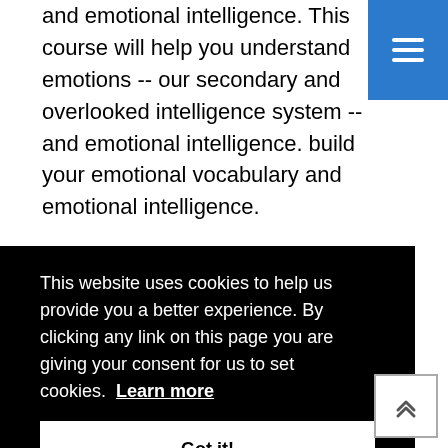and emotional intelligence. This course will help you understand emotions -- our secondary and overlooked intelligence system -- and emotional intelligence. build your emotional vocabulary and emotional intelligence.
[Figure (other): Blue hamburger menu button in top-right corner]
This website uses cookies to help us provide you a better experience. By clicking any link on this page you are giving your consent for us to set cookies. Learn more
Got it!
Business Leadership,